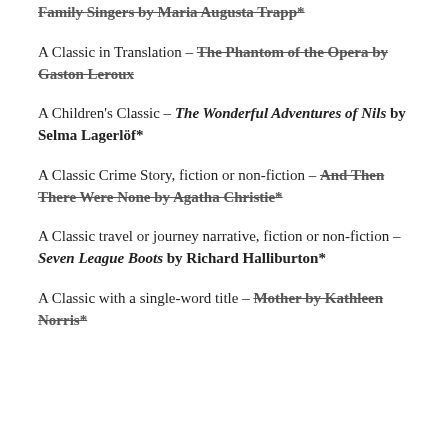Family Singers by Maria Augusta Trapp*
A Classic in Translation – The Phantom of the Opera by Gaston Leroux
A Children's Classic – The Wonderful Adventures of Nils by Selma Lagerlöf*
A Classic Crime Story, fiction or non-fiction – And Then There Were None by Agatha Christie*
A Classic travel or journey narrative, fiction or non-fiction – Seven League Boots by Richard Halliburton*
A Classic with a single-word title – Mother by Kathleen Norris*